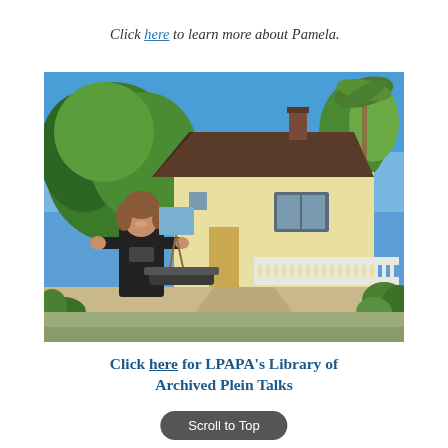Click here to learn more about Pamela.
[Figure (photo): An artist (woman in black t-shirt) painting outdoors on an easel in front of a yellow cottage-style house with a brown shake roof, surrounded by trees and gardens on a sunny day.]
Click here for LPAPA's Library of Archived Plein Talks
Scroll to Top